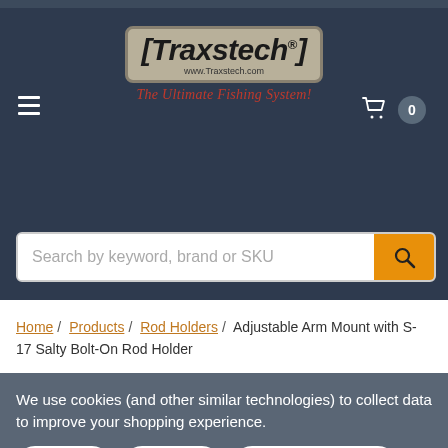[Figure (logo): Traxstech logo with tagline 'The Ultimate Fishing System!' on dark navy background, with hamburger menu icon on left and cart icon with count '0' on right]
[Figure (screenshot): Search bar with placeholder text 'Search by keyword, brand or SKU' and orange search button]
Home / Products / Rod Holders / Adjustable Arm Mount with S-17 Salty Bolt-On Rod Holder
We use cookies (and other similar technologies) to collect data to improve your shopping experience.
Settings | Reject all | Accept All Cookies